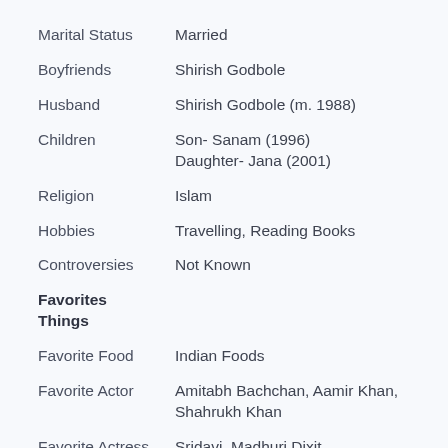| Field | Value |
| --- | --- |
| Marital Status | Married |
| Boyfriends | Shirish Godbole |
| Husband | Shirish Godbole (m. 1988) |
| Children | Son- Sanam (1996)
Daughter- Jana (2001) |
| Religion | Islam |
| Hobbies | Travelling, Reading Books |
| Controversies | Not Known |
| Favorites Things |  |
| Favorite Food | Indian Foods |
| Favorite Actor | Amitabh Bachchan, Aamir Khan, Shahrukh Khan |
| Favorite Actress | Sridavi, Madhuri Dixit |
| Favourite Singer | Not Known |